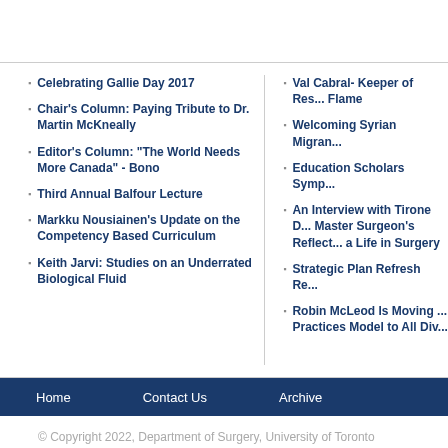Celebrating Gallie Day 2017
Chair's Column: Paying Tribute to Dr. Martin McKneally
Editor's Column: “The World Needs More Canada” - Bono
Third Annual Balfour Lecture
Markku Nousiainen's Update on the Competency Based Curriculum
Keith Jarvi: Studies on an Underrated Biological Fluid
Val Cabral- Keeper of Res... Flame
Welcoming Syrian Migran...
Education Scholars Symp...
An Interview with Tirone D... Master Surgeon's Reflect... a Life in Surgery
Strategic Plan Refresh Re...
Robin McLeod Is Moving ... Practices Model to All Div...
Home   Contact Us   Archive
© Copyright 2022, Department of Surgery, University of Toronto